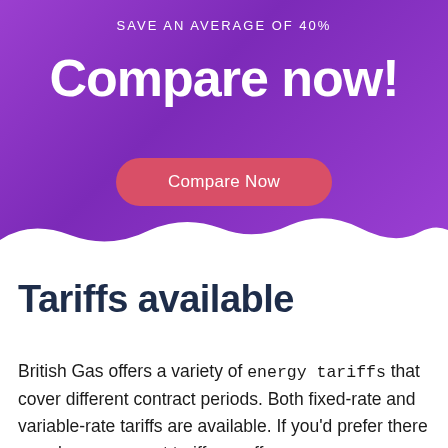SAVE AN AVERAGE OF 40%
Compare now!
Compare Now
Tariffs available
British Gas offers a variety of energy tariffs that cover different contract periods. Both fixed-rate and variable-rate tariffs are available. If you'd prefer there are also repayment tariffs on offer.